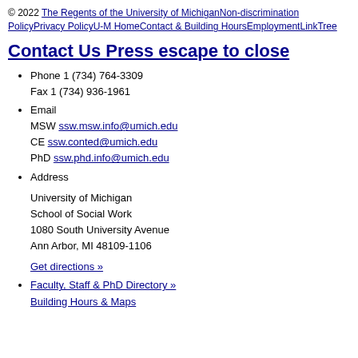© 2022 The Regents of the University of MichiganNon-discrimination PolicyPrivacy PolicyU-M HomeContact & Building HoursEmploymentLinkTree
Contact Us Press escape to close
Phone 1 (734) 764-3309
Fax 1 (734) 936-1961
Email
MSW ssw.msw.info@umich.edu
CE ssw.conted@umich.edu
PhD ssw.phd.info@umich.edu
Address
University of Michigan
School of Social Work
1080 South University Avenue
Ann Arbor, MI 48109-1106
Get directions »
Faculty, Staff & PhD Directory »
Building Hours & Maps